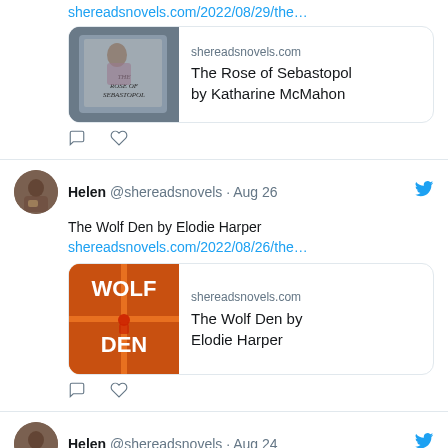shereadsnovels.com/2022/08/29/the…
[Figure (screenshot): Preview card for The Rose of Sebastopol by Katharine McMahon on shereadsnovels.com]
Helen @shereadsnovels · Aug 26 — The Wolf Den by Elodie Harper — shereadsnovels.com/2022/08/26/the…
[Figure (screenshot): Preview card for The Wolf Den by Elodie Harper on shereadsnovels.com]
Helen @shereadsnovels · Aug 24 — Excellent Intentions by Richard Hull